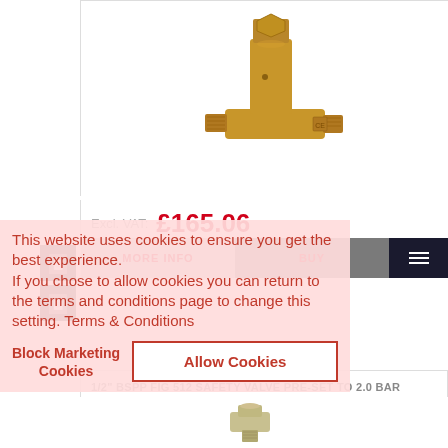[Figure (photo): Brass safety valve (T-shaped, threaded fittings) shown on white background]
Excl. VAT: £165.06
MORE INFO
BUY
This website uses cookies to ensure you get the best experience. If you chose to allow cookies you can return to the terms and conditions page to change this setting. Terms & Conditions
Block Marketing Cookies
Allow Cookies
1/2" BSPP FIG 512 SAFETY VALVE PRE-SET TO 2.0 BAR
[Figure (photo): Small brass/chrome safety valve shown at bottom of page]